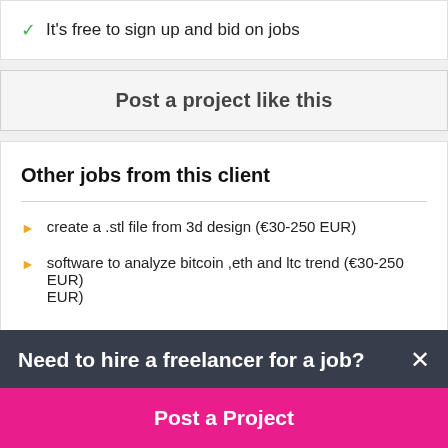It's free to sign up and bid on jobs
Post a project like this
Other jobs from this client
create a .stl file from 3d design (€30-250 EUR)
software to analyze bitcoin ,eth and ltc trend (€30-250 EUR)
Need to hire a freelancer for a job?
Post a Project